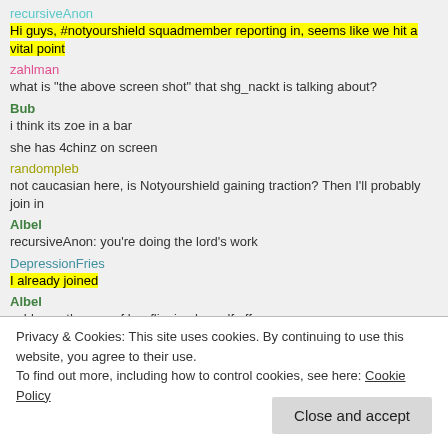recursiveAnon
Hi guys, #notyourshield squadmember reporting in, seems like we hit a vital point
zahlman
what is "the above screen shot" that shg_nackt is talking about?
Bub
i think its zoe in a bar
she has 4chinz on screen
randompleb
not caucasian here, is Notyourshield gaining traction? Then I'll probably join in
Albel
recursiveAnon: you're doing the lord's work
DepressionFries
I already joined
Albel
zahlman: the one of her flipping herself off
DepressionFries
as a Latino
Privacy & Cookies: This site uses cookies. By continuing to use this website, you agree to their use.
To find out more, including how to control cookies, see here: Cookie Policy
Close and accept